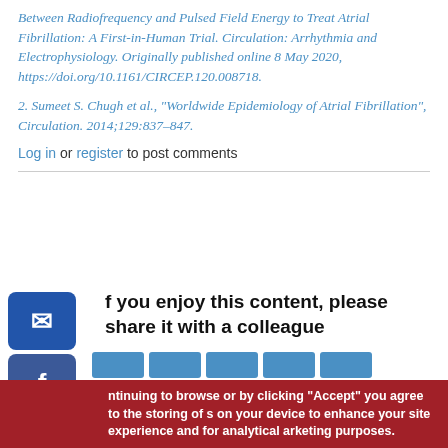Between Radiofrequency and Pulsed Field Energy to Treat Atrial Fibrillation: A First-in-Human Trial. Circulation: Arrhythmia and Electrophysiology. Originally published online 8 May 2020, https://doi.org/10.1161/CIRCEP.120.008718.
2. Sumeet S. Chugh et al., "Worldwide Epidemiology of Atrial Fibrillation", Circulation. 2014;129:837–847.
Log in or register to post comments
If you enjoy this content, please share it with a colleague
continuing to browse or by clicking "Accept" you agree to the storing of s on your device to enhance your site experience and for analytical arketing purposes.
n more about how we use cookies, please see our cookie policy.